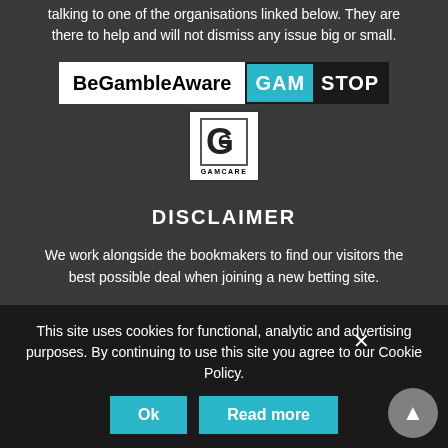talking to one of the organisations linked below. They are there to help and will not dismiss any issue big or small.
[Figure (logo): BeGambleAware logo, GamStop logo, and GamCare logo]
DISCLAIMER
We work alongside the bookmakers to find our visitors the best possible deal when joining a new betting site.
Our website is free to use and we endeavour to keep it fully
the availability and accuracy of any bonus or offer stated or
Definitive full offe... must always be confirmed on the website of the bookmaker / casino
This site uses cookies for functional, analytic and advertising purposes. By continuing to use this site you agree to our Cookie Policy.